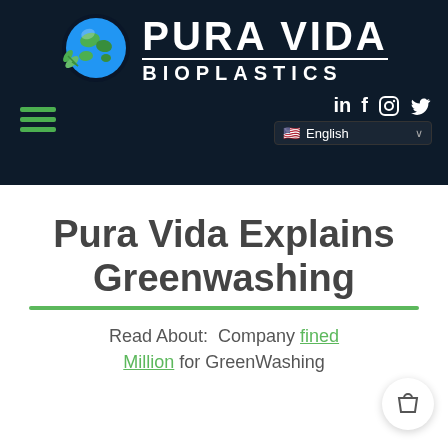[Figure (logo): Pura Vida Bioplastics logo: globe with green leaves on left, 'PURA VIDA' in large white bold text and 'BIOPLASTICS' in white spaced text on dark navy background, with social media icons (LinkedIn, Facebook, Instagram, Twitter) and English language selector]
Pura Vida Explains Greenwashing
Read About:  Company fined Million for GreenWashing